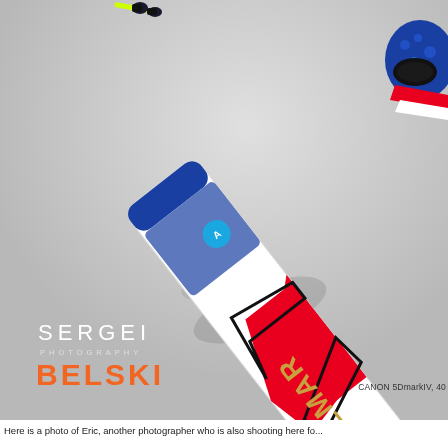[Figure (photo): Action sports photo showing a skier in a colorful white/red/blue Colmar racing suit on a snowy slope, shot from above. In the upper portion a tiny figure with neon yellow skis and dark boots is visible against the grey-white snow. A photographer's watermark 'SERGEI PHOTOGRAPHY BELSKI' appears at bottom left in white and orange text. Caption at bottom right reads 'CANON 5DmarkIV, 40']
CANON 5DmarkIV, 40
Here is a photo of Eric, another photographer who is also shooting here fo...